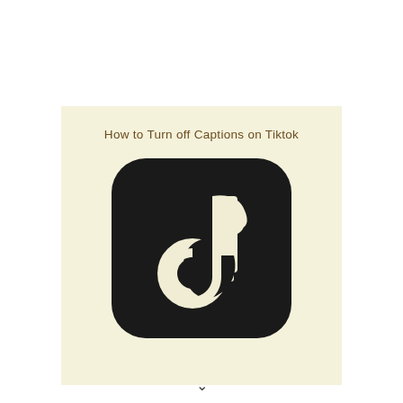How to Turn off Captions on Tiktok
[Figure (logo): TikTok app logo — black rounded square with cream/off-white TikTok musical note icon]
v